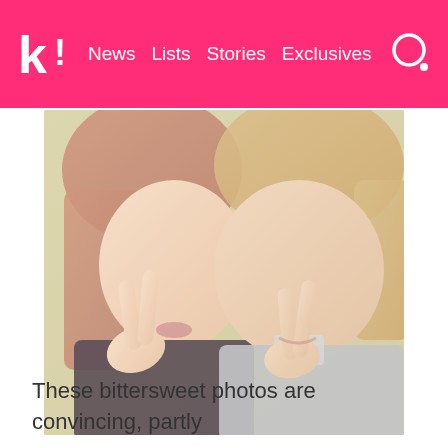k! News Lists Stories Exclusives
[Figure (photo): Two young people posing for a selfie, both making peace signs with their fingers. The person on the left has reddish-brown hair and is wearing a dark top. The person on the right has blonde hair and is wearing a light grey jacket. The photo has a warm, faded vintage filter.]
These bittersweet photos are convincing, partly